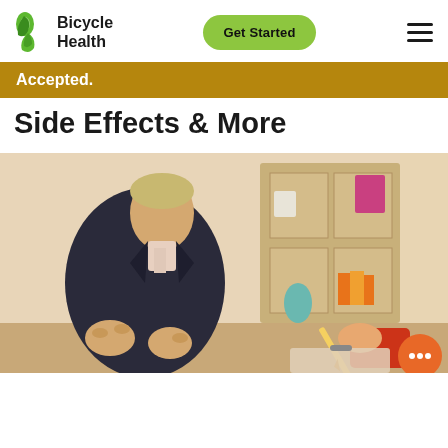Bicycle Health | Get Started
Accepted.
Side Effects & More
[Figure (photo): A man in a dark blazer sitting and gesturing with his hands in what appears to be a counseling or consultation session, with a clinician writing on a clipboard visible in the foreground. A bookshelf is in the background.]